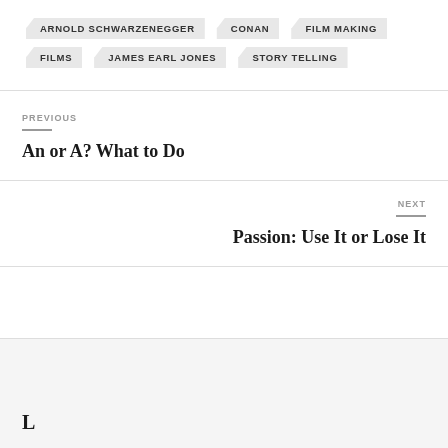ARNOLD SCHWARZENEGGER
CONAN
FILM MAKING
FILMS
JAMES EARL JONES
STORY TELLING
PREVIOUS
An or A? What to Do
NEXT
Passion: Use It or Lose It